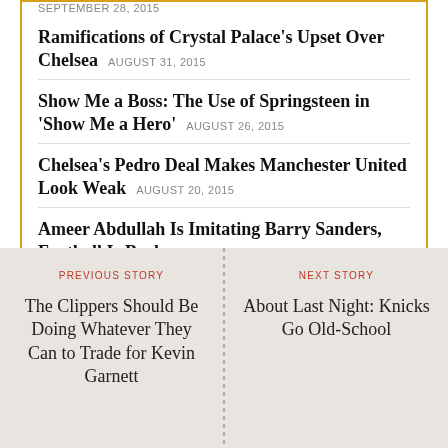SEPTEMBER 28, 2015
Ramifications of Crystal Palace's Upset Over Chelsea AUGUST 31, 2015
Show Me a Boss: The Use of Springsteen in 'Show Me a Hero' AUGUST 26, 2015
Chelsea's Pedro Deal Makes Manchester United Look Weak AUGUST 20, 2015
Ameer Abdullah Is Imitating Barry Sanders, Football Is Back AUGUST 14, 2015
SEE ALL FROM
PREVIOUS STORY
The Clippers Should Be Doing Whatever They Can to Trade for Kevin Garnett
NEXT STORY
About Last Night: Knicks Go Old-School